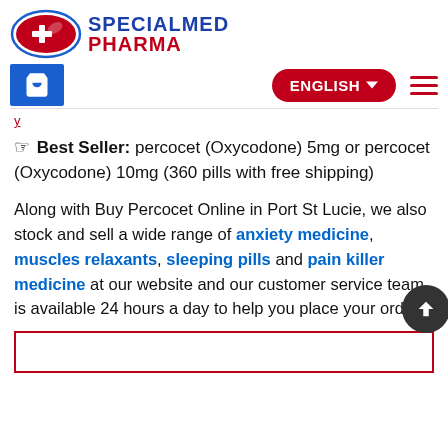[Figure (logo): SpecialMed Pharma logo with red oval pill shape and blue/red text]
[Figure (screenshot): Navigation bar with blue cart button, red ENGLISH language selector and hamburger menu]
y
Best Seller: percocet (Oxycodone) 5mg or percocet (Oxycodone) 10mg (360 pills with free shipping)
Along with Buy Percocet Online in Port St Lucie, we also stock and sell a wide range of anxiety medicine, muscles relaxants, sleeping pills and pain killer medicine at our website and our customer service team is available 24 hours a day to help you place your order